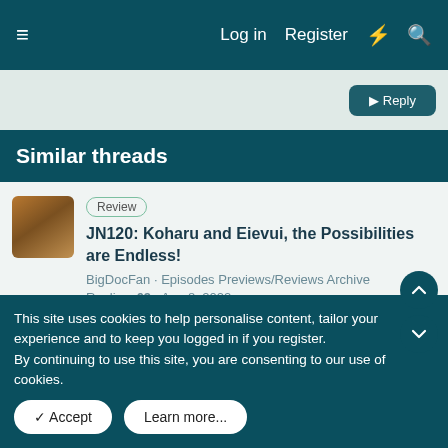≡  Log in  Register  ⚡  🔍
Similar threads
Review JN120: Koharu and Eievui, the Possibilities are Endless! BigDocFan · Episodes Previews/Reviews Archive Replies: 69 · Aug 8, 2022
Review JN119: Koharu and Eievui - The Miracle of Evolution FinnishPokéFan92 · Episodes Previews/Reviews Archive Replies: 59 · Aug 5, 2022
This site uses cookies to help personalise content, tailor your experience and to keep you logged in if you register.
By continuing to use this site, you are consenting to our use of cookies.
✓ Accept   Learn more...